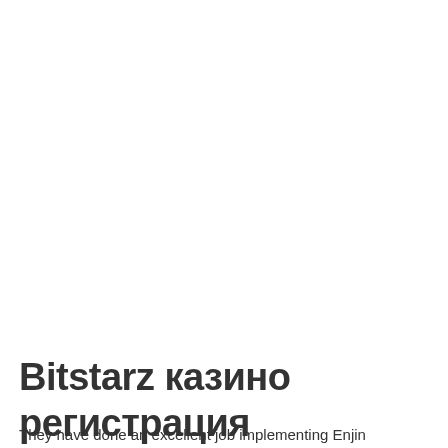[Figure (other): Hamburger menu icon inside a circular button with a light beige/cream border]
Bitstarz казино регистрация
They have done an excellent job implementing Enjin tokenized assets and are